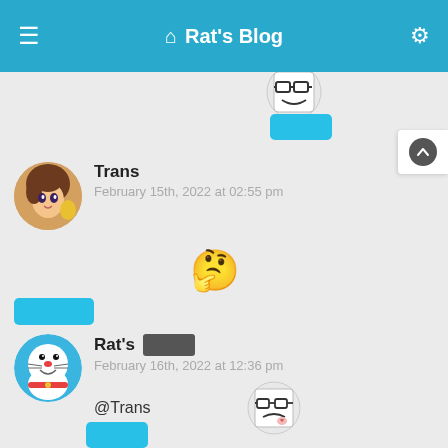Rat's Blog
[Figure (illustration): Meme face avatar at top (partially visible), followed by a blue rectangle placeholder]
Trans
February 15th, 2022 at 02:55 pm
[Figure (illustration): Thinking face emoji 🤔]
[blue bar placeholder]
Rat's [redacted]
February 16th, 2022 at 12:36 pm
@Trans [meme face emoji]
[blue bar placeholder]
reishi
February 14th, 2022 at 03:42 am